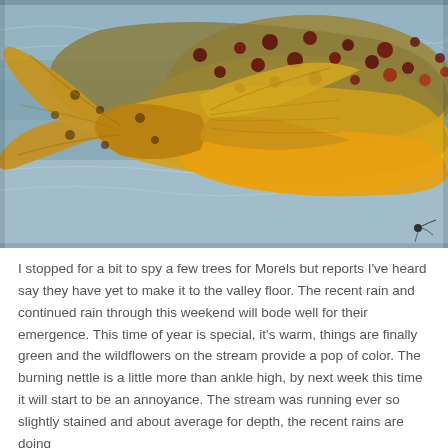[Figure (photo): Close-up photograph of the tail and lower body of a trout fish (likely a brown or golden trout) held over rippling water. The fish has a yellow-orange belly and tail fin with dark spots, and olive-brown upper body with red and dark spots. A small fishing fly is visible in the bottom right corner.]
I stopped for a bit to spy a few trees for Morels but reports I've heard say they have yet to make it to the valley floor. The recent rain and continued rain through this weekend will bode well for their emergence. This time of year is special, it's warm, things are finally green and the wildflowers on the stream provide a pop of color. The burning nettle is a little more than ankle high, by next week this time it will start to be an annoyance. The stream was running ever so slightly stained and about average for depth, the recent rains are doing